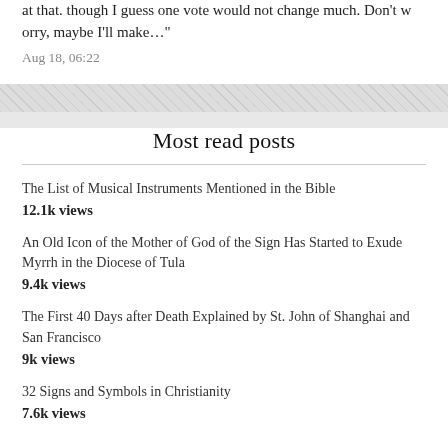at that. though I guess one vote would not change much. Don't worry, maybe I'll make…"
Aug 18, 06:22
Most read posts
The List of Musical Instruments Mentioned in the Bible
12.1k views
An Old Icon of the Mother of God of the Sign Has Started to Exude Myrrh in the Diocese of Tula
9.4k views
The First 40 Days after Death Explained by St. John of Shanghai and San Francisco
9k views
32 Signs and Symbols in Christianity
7.6k views